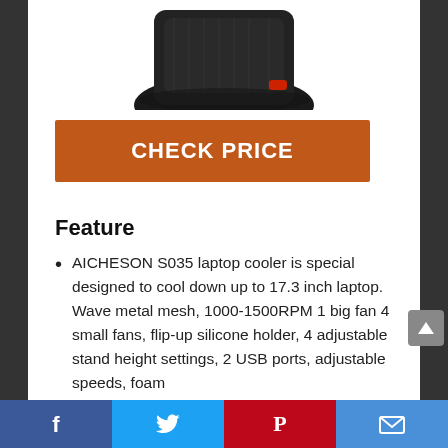[Figure (photo): Partial view of AICHESON S035 laptop cooler product image, dark/black color with red accent, shown from above at an angle, cropped at top of page.]
CHECK PRICE
Feature
AICHESON S035 laptop cooler is special designed to cool down up to 17.3 inch laptop. Wave metal mesh, 1000-1500RPM 1 big fan 4 small fans, flip-up silicone holder, 4 adjustable stand height settings, 2 USB ports, adjustable speeds, foam